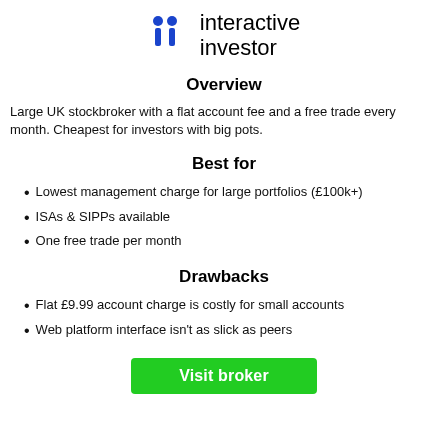[Figure (logo): Interactive Investor logo — two blue stick-figure icons beside the text 'interactive investor' in black]
Overview
Large UK stockbroker with a flat account fee and a free trade every month. Cheapest for investors with big pots.
Best for
Lowest management charge for large portfolios (£100k+)
ISAs & SIPPs available
One free trade per month
Drawbacks
Flat £9.99 account charge is costly for small accounts
Web platform interface isn't as slick as peers
[Figure (other): Green 'Visit broker' button]